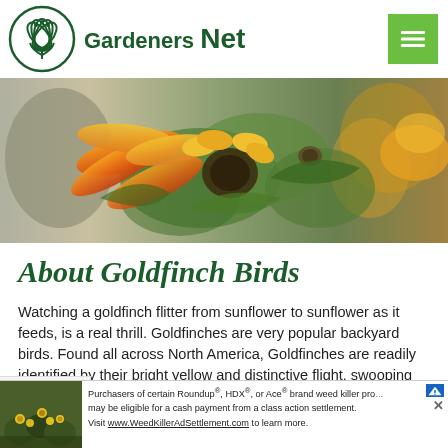Gardeners Net
[Figure (photo): Close-up photo of sunflowers with yellow and orange petals and green leaves, blurred background with another flower on the right]
About Goldfinch Birds
Watching a goldfinch flitter from sunflower to sunflower as it feeds, is a real thrill. Goldfinches are very popular backyard birds. Found all across North America, Goldfinches are readily identified by their bright yellow and distinctive flight, swooping up and down, as they
[Figure (photo): Advertisement banner: thumbnail of yellow flowers on left; text reads 'Purchasers of certain Roundup®, HDX®, or Ace® brand weed killer products may be eligible for a cash payment from a class action settlement. Visit www.WeedKillerAdSettlement.com to learn more.']